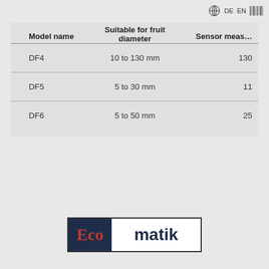DE  EN
| Model name | Suitable for fruit diameter | Sensor meas… |
| --- | --- | --- |
| DF4 | 10 to 130 mm | 130 |
| DF5 | 5 to 30 mm | 11 |
| DF6 | 5 to 50 mm | 25 |
[Figure (logo): Ecomatik logo with dark navy background on left showing 'Eco' in red serif font and white background on right showing 'matik' in dark navy sans-serif font, enclosed in a rectangular border]